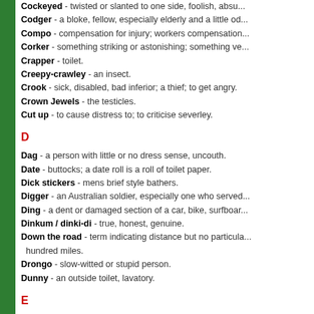Cockeyed - twisted or slanted to one side, foolish, absu...
Codger - a bloke, fellow, especially elderly and a little od...
Compo - compensation for injury; workers compensation...
Corker - something striking or astonishing; something ve...
Crapper - toilet.
Creepy-crawley - an insect.
Crook - sick, disabled, bad inferior; a thief; to get angry.
Crown Jewels - the testicles.
Cut up - to cause distress to; to criticise severley.
D
Dag - a person with little or no dress sense, uncouth.
Date - buttocks; a date roll is a roll of toilet paper.
Dick stickers - mens brief style bathers.
Digger - an Australian soldier, especially one who served...
Ding - a dent or damaged section of a car, bike, surfboar...
Dinkum / dinki-di - true, honest, genuine.
Down the road - term indicating distance but no particula... hundred miles.
Drongo - slow-witted or stupid person.
Dunny - an outside toilet, lavatory.
E
Earbash - to talk incessantly, someone who talks too mu...
F
Fair dinkum - real, genuine, true.
Few sandwiches short of a picnic - slow witted, not al...